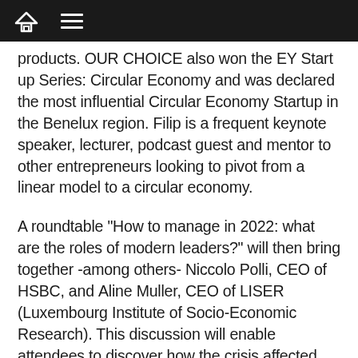[home icon] [menu icon]
products. OUR CHOICE also won the EY Start up Series: Circular Economy and was declared the most influential Circular Economy Startup in the Benelux region. Filip is a frequent keynote speaker, lecturer, podcast guest and mentor to other entrepreneurs looking to pivot from a linear model to a circular economy.
A roundtable "How to manage in 2022: what are the roles of modern leaders?" will then bring together -among others- Niccolo Polli, CEO of HSBC, and Aline Muller, CEO of LISER (Luxembourg Institute of Socio-Economic Research). This discussion will enable attendees to discover how the crisis affected the leadership models and